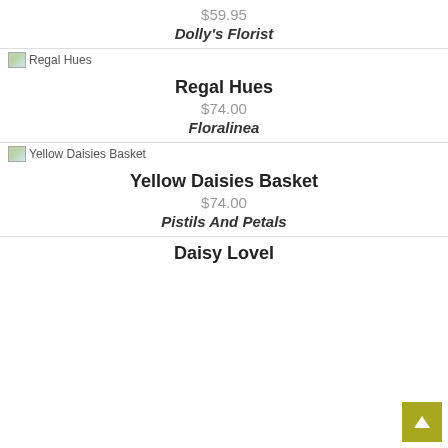$59.95
Dolly's Florist
[Figure (photo): Broken image placeholder labeled 'Regal Hues']
Regal Hues
$74.00
Floralinea
[Figure (photo): Broken image placeholder labeled 'Yellow Daisies Basket']
Yellow Daisies Basket
$74.00
Pistils And Petals
Daisy Lovel